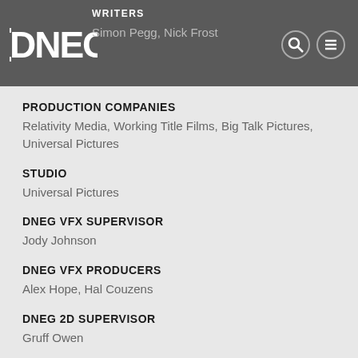WRITERS
Simon Pegg, Nick Frost
PRODUCTION COMPANIES
Relativity Media, Working Title Films, Big Talk Pictures, Universal Pictures
STUDIO
Universal Pictures
DNEG VFX SUPERVISOR
Jody Johnson
DNEG VFX PRODUCERS
Alex Hope, Hal Couzens
DNEG 2D SUPERVISOR
Gruff Owen
DNEG CG SUPERVISOR